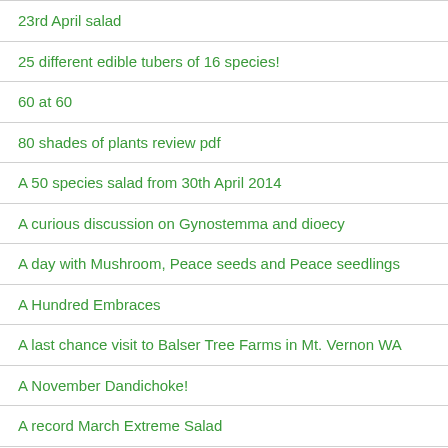23rd April salad
25 different edible tubers of 16 species!
60 at 60
80 shades of plants review pdf
A 50 species salad from 30th April 2014
A curious discussion on Gynostemma and dioecy
A day with Mushroom, Peace seeds and Peace seedlings
A Hundred Embraces
A last chance visit to Balser Tree Farms in Mt. Vernon WA
A November Dandichoke!
A record March Extreme Salad
A visit from the Extreme Salad Man
A …in the life of the Russian Shallot…